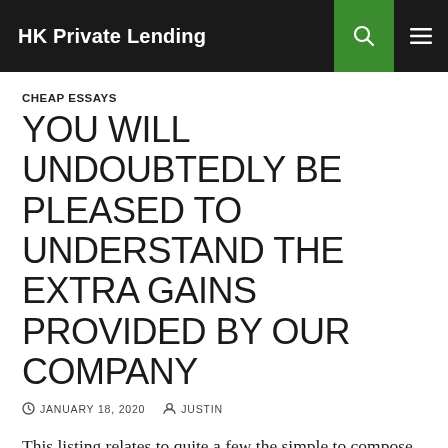HK Private Lending
CHEAP ESSAYS
YOU WILL UNDOUBTEDLY BE PLEASED TO UNDERSTAND THE EXTRA GAINS PROVIDED BY OUR COMPANY
JANUARY 18, 2020   JUSTIN
This listing relates to quite a few the simple to compose composition issues. You'll likely also feel of other activities to increase the article. The essay is the greatest spot to achieve